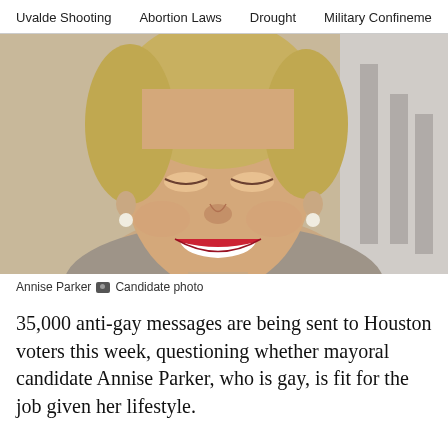Uvalde Shooting   Abortion Laws   Drought   Military Confinement
[Figure (photo): Portrait photo of Annise Parker, a woman with short blonde hair, wearing pearl earrings, red lipstick, and a gray blazer, smiling at the camera.]
Annise Parker 📷 Candidate photo
35,000 anti-gay messages are being sent to Houston voters this week, questioning whether mayoral candidate Annise Parker, who is gay, is fit for the job given her lifestyle.